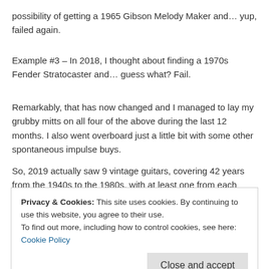possibility of getting a 1965 Gibson Melody Maker and… yup, failed again.
Example #3 – In 2018, I thought about finding a 1970s Fender Stratocaster and… guess what? Fail.
Remarkably, that has now changed and I managed to lay my grubby mitts on all four of the above during the last 12 months. I also went overboard just a little bit with some other spontaneous impulse buys.
So, 2019 actually saw 9 vintage guitars, covering 42 years from the 1940s to the 1980s, with at least one from each decade joining the CRAVE Guitars family. Herewith, the profligate plethora of pulchritude (apologies for the pompous alliteration)…
1982 Fender Bullet H2
Privacy & Cookies: This site uses cookies. By continuing to use this website, you agree to their use.
To find out more, including how to control cookies, see here: Cookie Policy
1947 Gibson ES-150